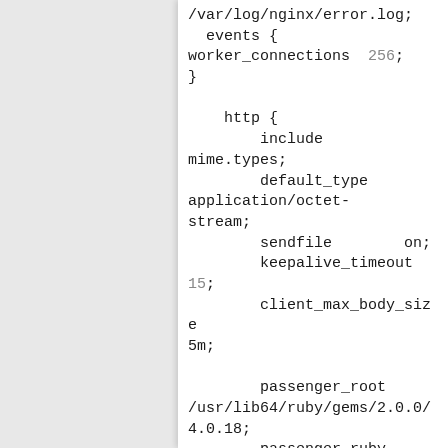/var/log/nginx/error.log;
    events {
worker_connections  256;
}

    http {
        include
mime.types;
        default_type
application/octet-stream;
        sendfile        on;
        keepalive_timeout
15;
        client_max_body_size
5m;

        passenger_root
/usr/lib64/ruby/gems/2.0.0/4.0.18;
        passenger_ruby
/usr/bin/ruby;

        server {
            listen 80;